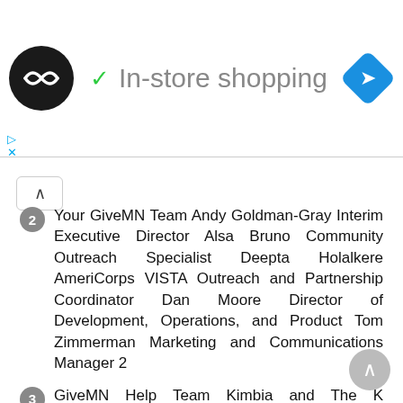[Figure (screenshot): Ad bar with circular logo, checkmark and 'In-store shopping' text, and blue navigation diamond icon]
2 Your GiveMN Team Andy Goldman-Gray Interim Executive Director Alsa Bruno Community Outreach Specialist Deepta Holalkere AmeriCorps VISTA Outreach and Partnership Coordinator Dan Moore Director of Development, Operations, and Product Tom Zimmerman Marketing and Communications Manager 2
3 GiveMN Help Team Kimbia and The K Foundation 3
4 Updates from GiveMN New team members Surpassed $125 million raised for organizations Continuing website improvements based on your feedback; several updates since GTMD14 Today, GiveMN is getting you ready for the seventh annual Give to the Max Day 4
5 Agenda What organizations and donors tell us Give to the Max Day website functionality, Prizes, Events...